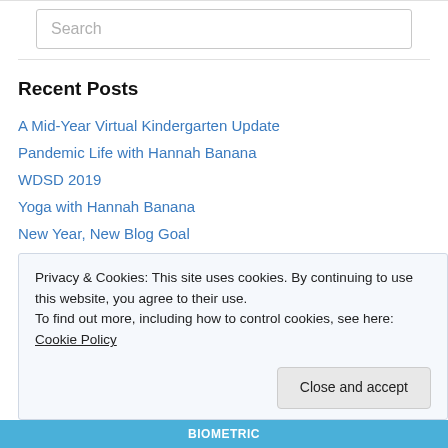[Figure (other): Search input box with placeholder text 'Search']
Recent Posts
A Mid-Year Virtual Kindergarten Update
Pandemic Life with Hannah Banana
WDSD 2019
Yoga with Hannah Banana
New Year, New Blog Goal
Privacy & Cookies: This site uses cookies. By continuing to use this website, you agree to their use. To find out more, including how to control cookies, see here: Cookie Policy
Close and accept